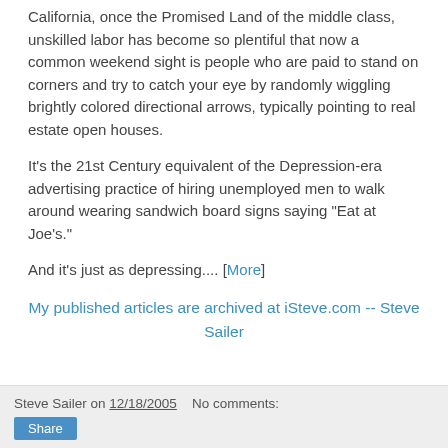California, once the Promised Land of the middle class, unskilled labor has become so plentiful that now a common weekend sight is people who are paid to stand on corners and try to catch your eye by randomly wiggling brightly colored directional arrows, typically pointing to real estate open houses.
It's the 21st Century equivalent of the Depression-era advertising practice of hiring unemployed men to walk around wearing sandwich board signs saying "Eat at Joe's."
And it's just as depressing.... [More]
My published articles are archived at iSteve.com -- Steve Sailer
Steve Sailer on 12/18/2005   No comments: